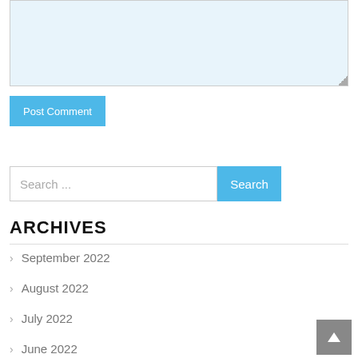[Figure (screenshot): Textarea input box with light blue background and resize handle]
Post Comment
Search ...
Search
ARCHIVES
September 2022
August 2022
July 2022
June 2022